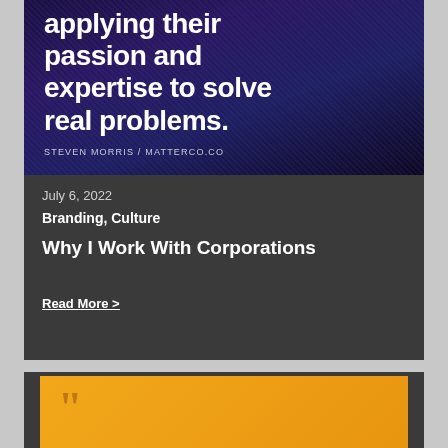[Figure (illustration): Dark purple/navy background with streaking light texture showing partial headline text '...applying their passion and expertise to solve real problems.' in bold white with byline 'STEVEN MORRIS / MATTERCO.CO']
July 6, 2022
Branding, Culture
Why I Work With Corporations
Read More >
[Figure (illustration): Orange/amber background card with large orange quotation mark in the upper left corner, partially visible]